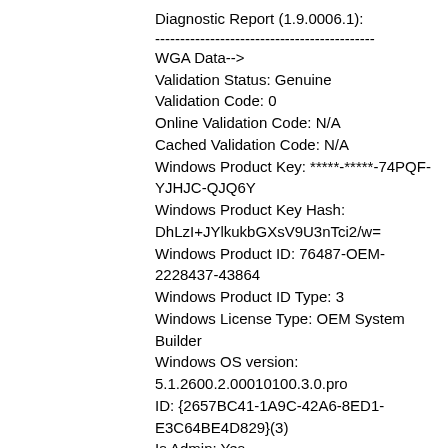Diagnostic Report (1.9.0006.1):
--------------------------------------------
WGA Data-->
Validation Status: Genuine
Validation Code: 0
Online Validation Code: N/A
Cached Validation Code: N/A
Windows Product Key: *****-*****-74PQF-YJHJC-QJQ6Y
Windows Product Key Hash: DhLzI+JYlkukbGXsV9U3nTci2/w=
Windows Product ID: 76487-OEM-2228437-43864
Windows Product ID Type: 3
Windows License Type: OEM System Builder
Windows OS version: 5.1.2600.2.00010100.3.0.pro
ID: {2657BC41-1A9C-42A6-8ED1-E3C64BE4D829}(3)
Is Admin: Yes
TestCab: 0x0
WGA Version: Registered, 1.9.40.0
Signed By: Microsoft
Product Name: N/A
Architecture: N/A
Build lab: N/A
TTS Error: N/A